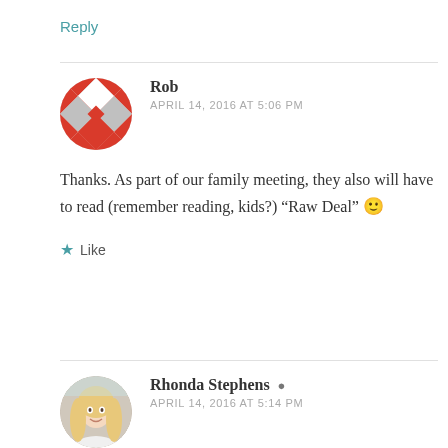Reply
Rob
APRIL 14, 2016 AT 5:06 PM
Thanks. As part of our family meeting, they also will have to read (remember reading, kids?) “Raw Deal” 🙂
Like
Rhonda Stephens
APRIL 14, 2016 AT 5:14 PM